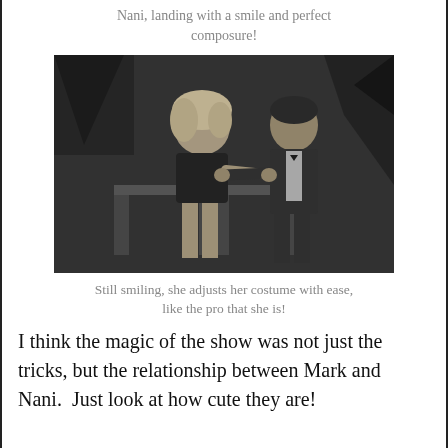Nani, landing with a smile and perfect composure!
[Figure (photo): Black and white photograph of two people on a stage — a blonde woman in a short costume adjusting her outfit, and a man in a suit leaning toward her, both smiling.]
Still smiling, she adjusts her costume with ease, like the pro that she is!
I think the magic of the show was not just the tricks, but the relationship between Mark and Nani.  Just look at how cute they are!